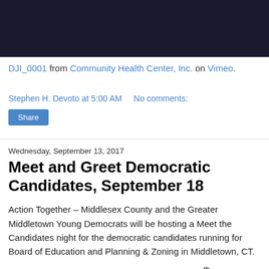[Figure (photo): Dark banner/header image, appears to be a crowd or event photo with dark tones]
DJI_0001 from Community Health Center, Inc. on Vimeo.
Stephen H. Devoto at 5:00 AM    No comments:
Share
Wednesday, September 13, 2017
Meet and Greet Democratic Candidates, September 18
Action Together – Middlesex County and the Greater Middletown Young Democrats will be hosting a Meet the Candidates night for the democratic candidates running for Board of Education and Planning & Zoning in Middletown, CT.
The event will be held on Monday, September 18th in the Hubbard